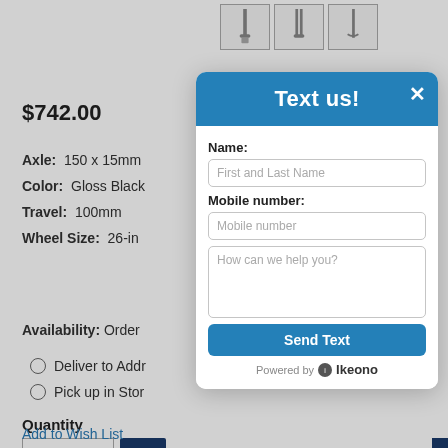[Figure (screenshot): Product page thumbnail images of a bike fork shown from multiple angles]
$742.00
Axle: 150 x 15mm
Color: Gloss Black
Travel: 100mm
Wheel Size: 26-in
Availability: Order
Deliver to Addr
Pick up in Stor
Quantity
1
Add to Wish List
[Figure (screenshot): Text us modal popup dialog with fields for Name, Mobile number, and message, plus Send Text button and Powered by Ikeono footer]